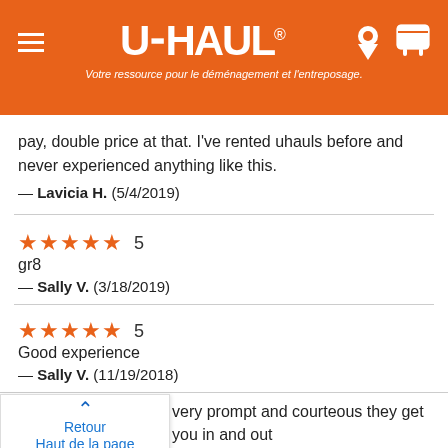[Figure (screenshot): U-Haul website header with orange background, hamburger menu, U-HAUL logo, location and cart icons, and tagline in French: Votre ressource pour le déménagement et l'entreposage.]
pay, double price at that. I've rented uhauls before and never experienced anything like this.
— Lavicia H.  (5/4/2019)
★★★★★ 5
gr8
— Sally V.  (3/18/2019)
★★★★★ 5
Good experience
— Sally V.  (11/19/2018)
[Figure (screenshot): Back to top popup widget with up chevron arrow and text 'Retour Haut de la page' in blue]
very prompt and courteous they get you in and out pretty quick. ????